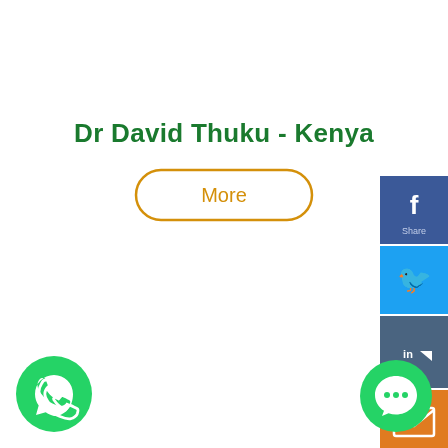Dr David Thuku - Kenya
[Figure (screenshot): A 'More' button with rounded rectangle outline in golden/amber color, with text 'More' in amber color inside]
[Figure (infographic): Social media share sidebar on the right edge showing Facebook (blue), Twitter (cyan), LinkedIn (dark blue-gray), and Email (orange) icons stacked vertically]
[Figure (infographic): WhatsApp icon — green circle with white phone/chat handset symbol, bottom-left corner]
[Figure (infographic): Chat/messaging icon — green circle with white speech bubble symbol, bottom-right corner]